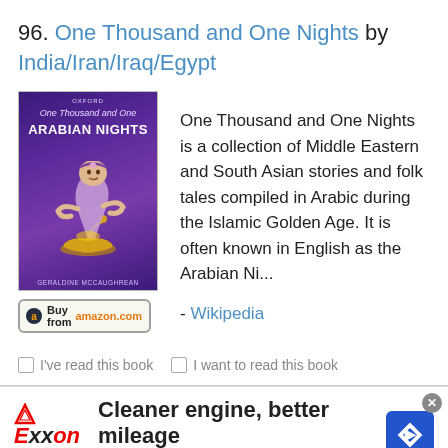96. One Thousand and One Nights by India/Iran/Iraq/Egypt
[Figure (illustration): Book cover of 'One Thousand and One Arabian Nights' published by Oxford, illustrated by Geraldine McCaughrean, showing a genie and magic lamp on a dark purple/blue background]
One Thousand and One Nights is a collection of Middle Eastern and South Asian stories and folk tales compiled in Arabic during the Islamic Golden Age. It is often known in English as the Arabian Ni...
- Wikipedia
☐ I've read this book   ☐ I want to read this book
[Figure (infographic): Advertisement: Cleaner engine, better mileage — Exxon, with Exxon logo and navigation arrow icon]